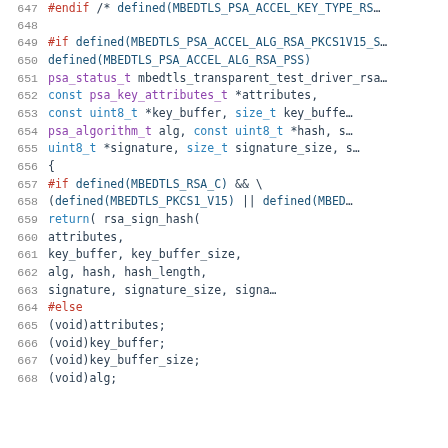[Figure (screenshot): Source code listing showing C preprocessor directives and function declaration for mbedtls_transparent_test_driver_rsa sign function, lines 647-668]